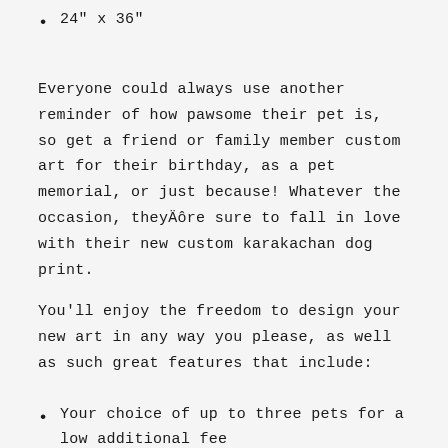24" x 36"
Everyone could always use another reminder of how pawsome their pet is, so get a friend or family member custom art for their birthday, as a pet memorial, or just because! Whatever the occasion, theyÄôre sure to fall in love with their new custom karakachan dog print.
You'll enjoy the freedom to design your new art in any way you please, as well as such great features that include:
Your choice of up to three pets for a low additional fee